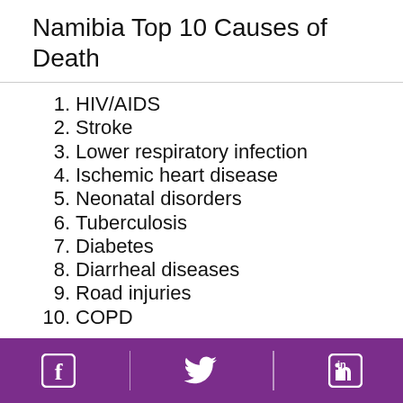Namibia Top 10 Causes of Death
1. HIV/AIDS
2. Stroke
3. Lower respiratory infection
4. Ischemic heart disease
5. Neonatal disorders
6. Tuberculosis
7. Diabetes
8. Diarrheal diseases
9. Road injuries
10. COPD
Social media icons: Facebook, Twitter, LinkedIn